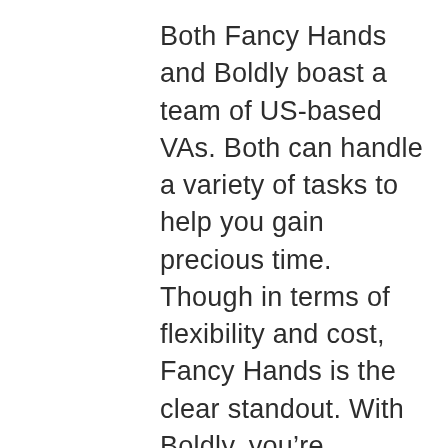Both Fancy Hands and Boldly boast a team of US-based VAs. Both can handle a variety of tasks to help you gain precious time. Though in terms of flexibility and cost, Fancy Hands is the clear standout. With Boldly, you're essentially outsourcing certain functions to a staffing agency, who then pairs you with a long-term, dedicated assistant. With Fancy Hands, you have access to the entire team of VAs 24/7, and when you submit different types of tasks, you can be sure that someone who's experienced and enthusiastic will be there to help. And if you're looking for